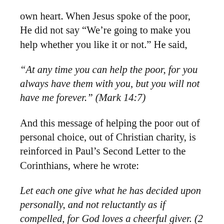own heart. When Jesus spoke of the poor, He did not say “We’re going to make you help whether you like it or not.” He said,
“At any time you can help the poor, for you always have them with you, but you will not have me forever.” (Mark 14:7)
And this message of helping the poor out of personal choice, out of Christian charity, is reinforced in Paul’s Second Letter to the Corinthians, where he wrote:
Let each one give what he has decided upon personally, and not reluctantly as if compelled, for God loves a cheerful giver. (2 Corinthians 9:7)